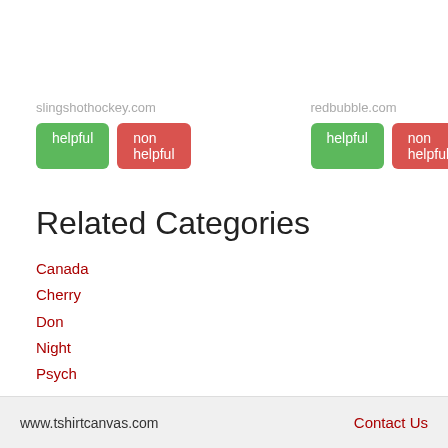slingshothockey.com
helpful | non helpful
redbubble.com
helpful | non helpful
Related Categories
Canada
Cherry
Don
Night
Psych
www.tshirtcanvas.com    Contact Us